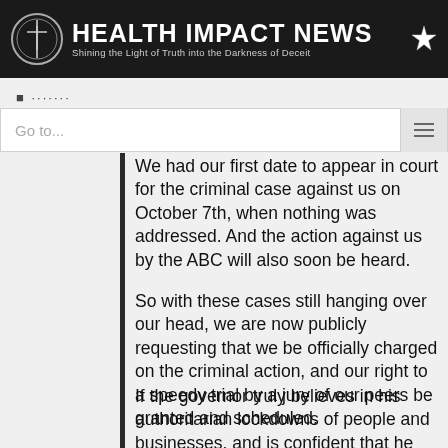HEALTH IMPACT NEWS — Shining the Light of Truth into the Darkness of Deceit
We had our first date to appear in court for the criminal case against us on October 7th, when nothing was addressed. And the action against us by the ABC will also soon be heard.
So with these cases still hanging over our head, we are now publicly requesting that we be officially charged on the criminal action, and our right to a speedy trial by a jury of our peers be granted and scheduled.
If the governor truly believes in his authoritarian lockdowns of people and businesses, and is confident that he can prosecute his case successfully, then let's move on with it. Otherwise drop all actions